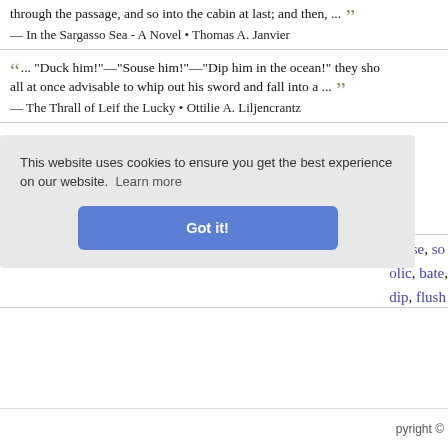through the passage, and so into the cabin at last; and then, ... — In the Sargasso Sea - A Novel • Thomas A. Janvier
... "Duck him!"—"Souse him!"—"Dip him in the ocean!" they sho all at once advisable to whip out his sword and fall into a ... — The Thrall of Leif the Lucky • Ottilie A. Liljencrantz
... are bringing that beast home on an elephant. It was much nearer interrupted him. "You can go and attend to that funeral you were talki souse of the water. "He was rather large—over ten feet—I should say. taking the measuring tape from ... — Mr. Isaacs • F. Marion Crawford
This website uses cookies to ensure you get the best experience on our website. Learn more
Got it!
douse, soa olic, bate, dip, flush
pyright ©